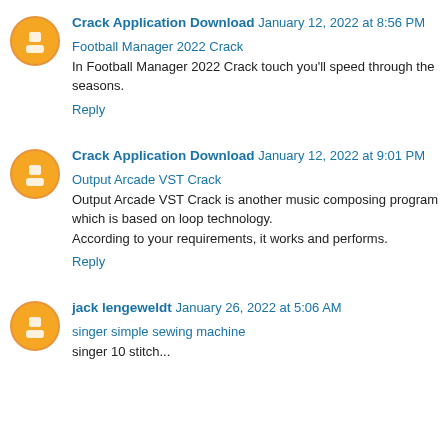Crack Application Download January 12, 2022 at 8:56 PM
Football Manager 2022 Crack
In Football Manager 2022 Crack touch you'll speed through the seasons.
Reply
Crack Application Download January 12, 2022 at 9:01 PM
Output Arcade VST Crack
Output Arcade VST Crack is another music composing program which is based on loop technology.
According to your requirements, it works and performs.
Reply
jack lengeweldt January 26, 2022 at 5:06 AM
singer simple sewing machine